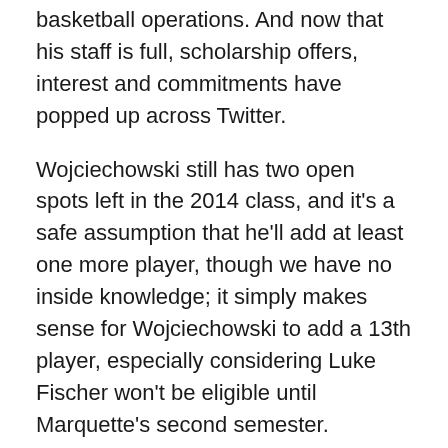basketball operations. And now that his staff is full, scholarship offers, interest and commitments have popped up across Twitter.
Wojciechowski still has two open spots left in the 2014 class, and it's a safe assumption that he'll add at least one more player, though we have no inside knowledge; it simply makes sense for Wojciechowski to add a 13th player, especially considering Luke Fischer won't be eligible until Marquette's second semester.
Recruits and transfers in the 2014 class won't be as publicly discussed — much like Matt Carlino was — but in the past few weeks players in the 2015 class have been. The list below is in alphabetical order and consists of players Marquette and/or Wojciechowski has been connected to since his introductory press conference last